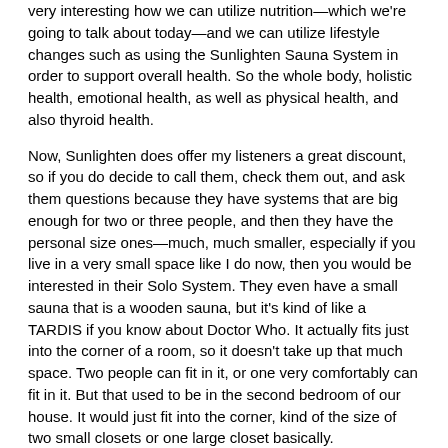very interesting how we can utilize nutrition—which we're going to talk about today—and we can utilize lifestyle changes such as using the Sunlighten Sauna System in order to support overall health. So the whole body, holistic health, emotional health, as well as physical health, and also thyroid health.
Now, Sunlighten does offer my listeners a great discount, so if you do decide to call them, check them out, and ask them questions because they have systems that are big enough for two or three people, and then they have the personal size ones—much, much smaller, especially if you live in a very small space like I do now, then you would be interested in their Solo System. They even have a small sauna that is a wooden sauna, but it's kind of like a TARDIS if you know about Doctor Who. It actually fits just into the corner of a room, so it doesn't take up that much space. Two people can fit in it, or one very comfortably can fit in it. But that used to be in the second bedroom of our house. It would just fit into the corner, kind of the size of two small closets or one large closet basically.
They have many different sizes to fit your needs. And what I do love about their company is they're so health-focused. Their entire purpose is to support your body's ability to heal itself, be as healthy, and feel as good as possible. I can't tell you how amazing I feel when I come out of a Sunlighten Sauna. I absolutely love it. I kind of became addicted to it. I'd rather be addicted to my sauna than addicted to drugs or alcohol for stress relief. So, as addictions go, it's pretty great when you become addicted to kale and sauna therapy.
Fantastic. Thank you so much for being a listener. Thank you so much for